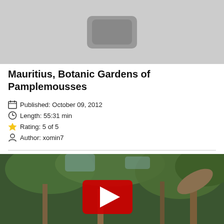[Figure (screenshot): Thumbnail placeholder image with rounded rectangle icon on grey background]
Mauritius, Botanic Gardens of Pamplemousses
Published: October 09, 2012
Length: 55:31 min
Rating: 5 of 5
Author: xomin7
[Figure (screenshot): YouTube video thumbnail showing tropical garden with palm trees and a red play button overlay]